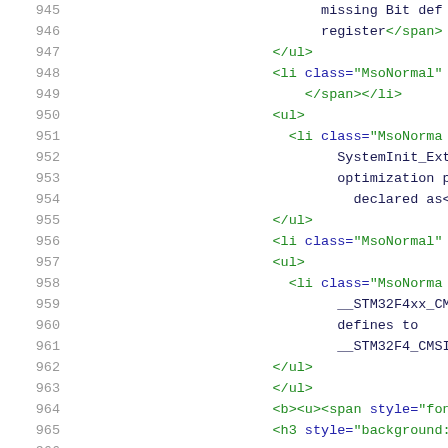945-965: source code listing showing XML/HTML markup with line numbers
945: missing Bit def
946: register</span>
947: </ul>
948: <li class="MsoNormal"
949:     </span></li>
950: <ul>
951:   <li class="MsoNorma
952:         SystemInit_ExtM
953:         optimization pr
954:           declared as</
955: </ul>
956: <li class="MsoNormal"
957: <ul>
958:   <li class="MsoNorma
959:         __STM32F4xx_CMS
960:         defines to
961:         __STM32F4_CMSIS
962: </ul>
963: </ul>
964: <b><u><span style="font
965: <h3 style="background: